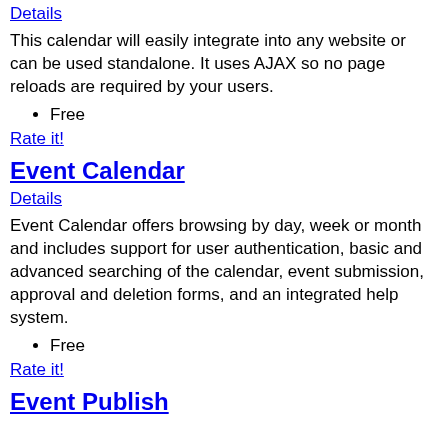Details
This calendar will easily integrate into any website or can be used standalone. It uses AJAX so no page reloads are required by your users.
Free
Rate it!
Event Calendar
Details
Event Calendar offers browsing by day, week or month and includes support for user authentication, basic and advanced searching of the calendar, event submission, approval and deletion forms, and an integrated help system.
Free
Rate it!
Event Publish